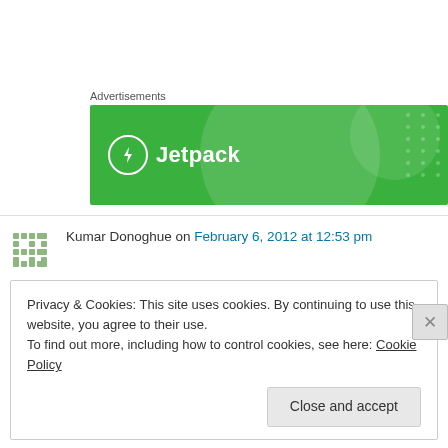Advertisements
[Figure (logo): Jetpack advertisement banner — green background with large translucent circles and dot pattern, white Jetpack logo with lightning bolt icon]
Kumar Donoghue on February 6, 2012 at 12:53 pm
Love it, Katie!
Privacy & Cookies: This site uses cookies. By continuing to use this website, you agree to their use.
To find out more, including how to control cookies, see here: Cookie Policy
Close and accept